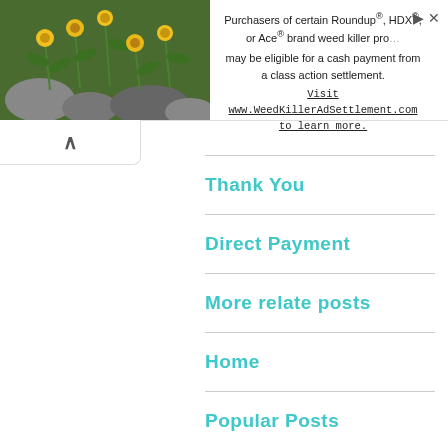[Figure (infographic): Advertisement banner with photo of yellow flowers on left and text on right: 'Purchasers of certain Roundup®, HDX®, or Ace® brand weed killer products may be eligible for a cash payment from a class action settlement. Visit www.WeedKillerAdSettlement.com to learn more.']
Thank You
Direct Payment
More relate posts
Home
Popular Posts
Recent SVGs
SVG Tools